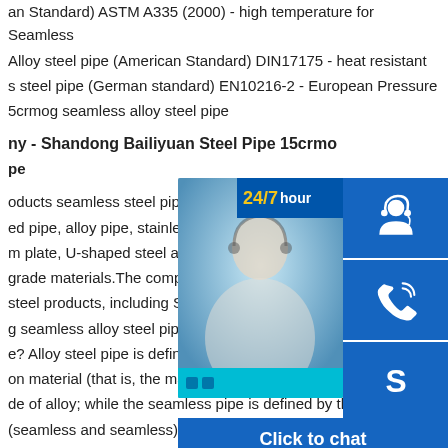an Standard) ASTM A335 (2000) - high temperature for Seamless Alloy steel pipe (American Standard) DIN17175 - heat resistant s steel pipe (German standard) EN10216-2 - European Pressure 5crmog seamless alloy steel pipe
ny - Shandong Bailiyuan Steel Steel Pipe 15crmo pe
oducts seamless steel pipe, round steel, welded pipe, alloy pipe, stainless steel, rebar, angl m plate, U-shaped steel and other dozens of p grade materials.The company prepares more steel products, including SA106B, 20G, Q195, g seamless alloy steel pipe Custom Alloy Stee e? Alloy steel pipe is defined by the steel pipe according to the on material (that is, the material), as the name suggests, is the de of alloy; while the seamless pipe is defined by the production (seamless and seamless), which is different from the seamless am pipes, including straight seam welded pipes and spiral pipes.
[Figure (photo): Customer service representative with headset, with 24/7 hour banner and chat icons panel on the right including headset icon, phone icon, Skype icon, and Click to chat button]
75-79 Seamless steel tubes